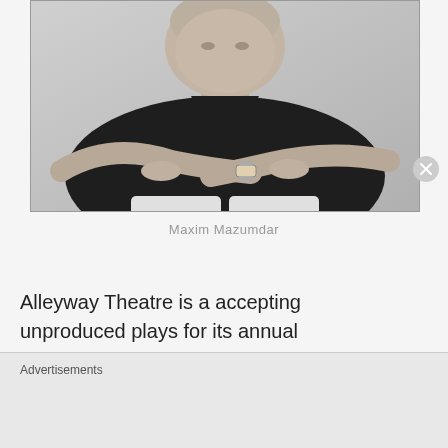[Figure (photo): Black and white photograph of a man (Maxim Mazumdar) sitting with arms crossed, wearing a dark short-sleeve shirt and a watch, upper body visible.]
Maxim Mazumdar
Alleyway Theatre is a accepting unproduced plays for its annual international competition now in it's 29th year. Playwrights may submit full length or one act or
Advertisements